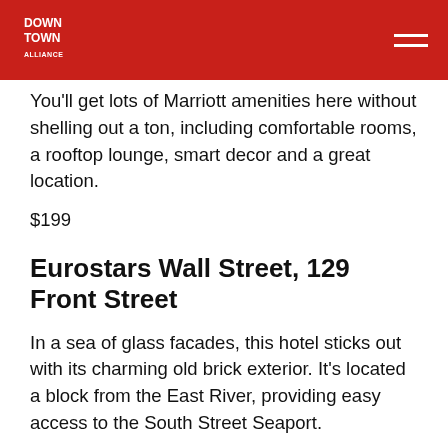Downtown Alliance
You'll get lots of Marriott amenities here without shelling out a ton, including comfortable rooms, a rooftop lounge, smart decor and a great location.
$199
Eurostars Wall Street, 129 Front Street
In a sea of glass facades, this hotel sticks out with its charming old brick exterior. It's located a block from the East River, providing easy access to the South Street Seaport.
$180